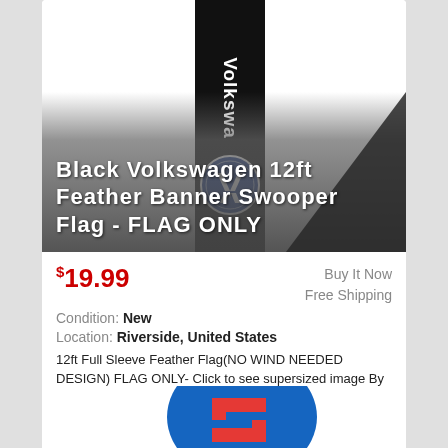[Figure (photo): Black Volkswagen 12ft feather banner swooper flag product image with black vertical strip and VW logo]
Black Volkswagen 12ft Feather Banner Swooper Flag - FLAG ONLY
$19.99
Buy It Now
Free Shipping
Condition: New
Location: Riverside, United States
12ft Full Sleeve Feather Flag(NO WIND NEEDED DESIGN) FLAG ONLY- Click to see supersized image By purchasing this time you will receive 1 Feather Banner ... more
[Figure (photo): Partial view of a Suzuki feather banner swooper flag (blue with red Suzuki logo), second product listing]